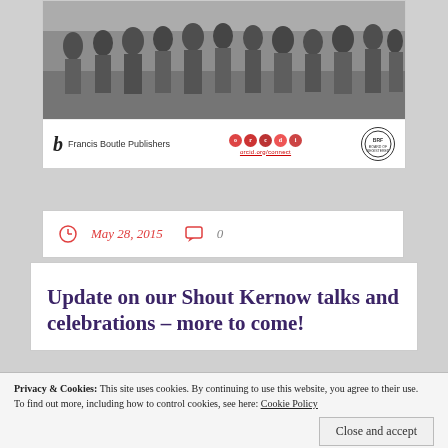[Figure (photo): Group photo of people standing outdoors, with publisher logos below including Francis Boutle Publishers, ORCID icons, and BRF badge]
May 28, 2015   0
Update on our Shout Kernow talks and celebrations – more to come!
Privacy & Cookies: This site uses cookies. By continuing to use this website, you agree to their use.
To find out more, including how to control cookies, see here: Cookie Policy
Close and accept
A launch event for the book